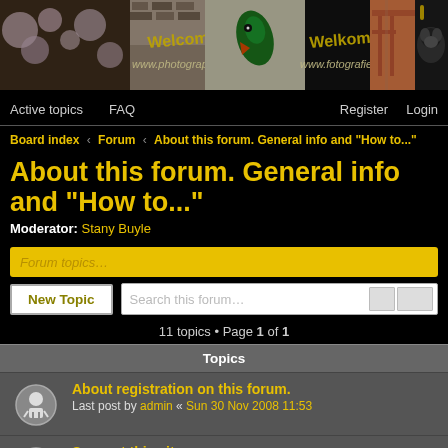[Figure (illustration): Photography forum banner with nature/wildlife photos, text 'Welcome to www.photographers.cafe' and 'Welkom op www.fotografie.cafe']
Active topics  FAQ  Register  Login
Board index ‹ Forum ‹ About this forum. General info and "How to..."
About this forum. General info and "How to..."
Moderator: Stany Buyle
Forum topics
New Topic   Search this forum…
11 topics • Page 1 of 1
Topics
About registration on this forum.
Last post by admin « Sun 30 Nov 2008 11:53
Support this site...
Last post by Stany Buyle « Fri 26 Sep 2014 20:00
Test to post a picture on the forum
Last post by Stany Buyle « Sun 5 Jan 2014 18:31
Replies: 2
Change character size of this forum